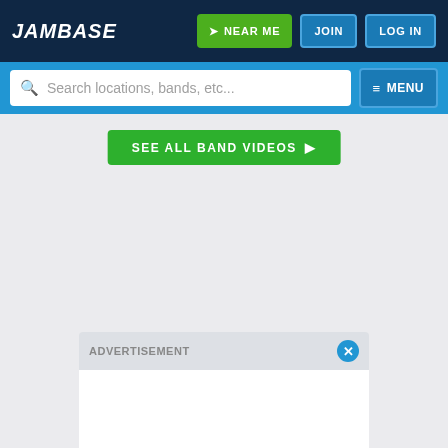JamBase — NEAR ME | JOIN | LOG IN
Search locations, bands, etc... MENU
SEE ALL BAND VIDEOS ▶
ADVERTISEMENT